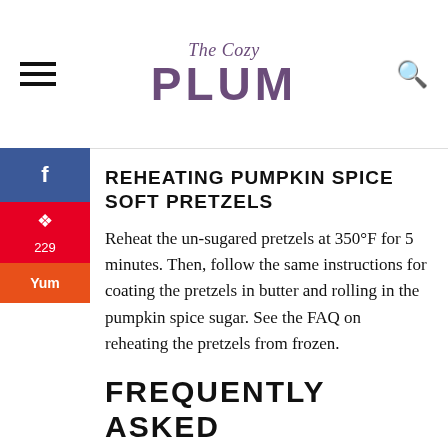The Cozy Plum
REHEATING PUMPKIN SPICE SOFT PRETZELS
Reheat the un-sugared pretzels at 350°F for 5 minutes. Then, follow the same instructions for coating the pretzels in butter and rolling in the pumpkin spice sugar. See the FAQ on reheating the pretzels from frozen.
FREQUENTLY ASKED QUESTIONS
Do you have to boil soft pretzels?